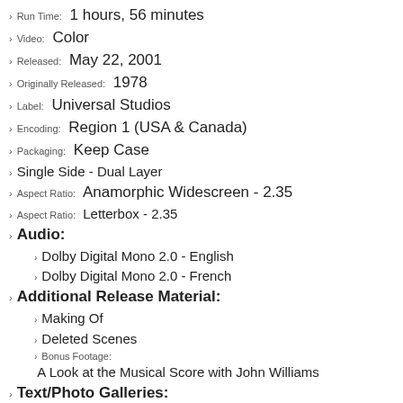Run Time: 1 hours, 56 minutes
Video: Color
Released: May 22, 2001
Originally Released: 1978
Label: Universal Studios
Encoding: Region 1 (USA & Canada)
Packaging: Keep Case
Single Side - Dual Layer
Aspect Ratio: Anamorphic Widescreen - 2.35
Aspect Ratio: Letterbox - 2.35
Audio:
Dolby Digital Mono 2.0 - English
Dolby Digital Mono 2.0 - French
Additional Release Material:
Making Of
Deleted Scenes
Bonus Footage: A Look at the Musical Score with John Williams
Text/Photo Galleries:
Production Art
Production Notes
Biographies: Cast & Crew